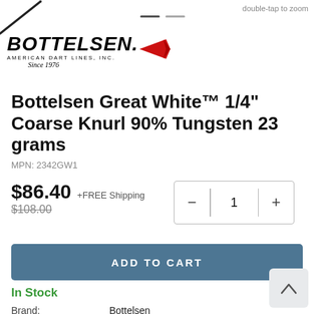[Figure (logo): Bottelsen American Dart Lines Inc. Since 1976 logo with dart tip graphic]
double-tap to zoom
Bottelsen Great White™ 1/4" Coarse Knurl 90% Tungsten 23 grams
MPN: 2342GW1
$86.40 +FREE Shipping
$108.00
ADD TO CART
In Stock
| Brand: | Bottelsen |
| Package: | 3 Darts per Set |
| Shipping Weight: | 0.3 Lbs |